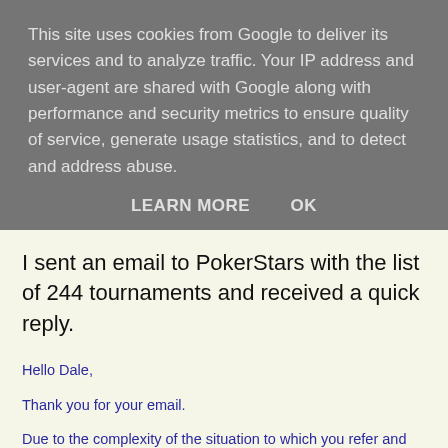This site uses cookies from Google to deliver its services and to analyze traffic. Your IP address and user-agent are shared with Google along with performance and security metrics to ensure quality of service, generate usage statistics, and to detect and address abuse.
LEARN MORE   OK
I sent an email to PokerStars with the list of 244 tournaments and received a quick reply.
Hello Dale,
Thank you for your email.
Due to the complexity of the situation to which you refer and the number of accounts involved, we have not yet begun to pay out compensation for this case.
We expect that we will begin to process compensation within the next week, and players who receive a payout will get an email in due course.